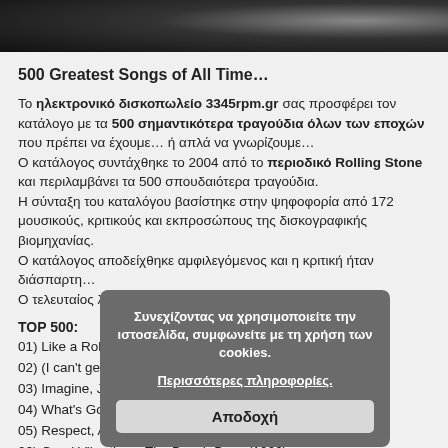[Figure (photo): Dark background photo strip at top of page, showing what appears to be a vinyl record or dark surface]
500 Greatest Songs of All Time…
Το ηλεκτρονικό δισκοπωλείο 3345rpm.gr σας προσφέρει τον κατάλογο με τα 500 σημαντικότερα τραγούδια όλων των εποχών που πρέπει να έχουμε… ή απλά να γνωρίζουμε… Ο κατάλογος συντάχθηκε το 2004 από το περιοδικό Rolling Stone και περιλαμβάνει τα 500 σπουδαιότερα τραγούδια. Η σύνταξη του καταλόγου βασίστηκε στην ψηφοφορία από 172 μουσικούς, κριτικούς και εκπροσώπους της δισκογραφικής βιομηχανίας. Ο κατάλογος αποδείχθηκε αμφιλεγόμενος και η κριτική ήταν διάσπαρτη… Ο τελευταίος λόγος και η κριτική ανήκει σ'εσάς…
TOP 500:
01) Like a Rolling Stone, Bob Dylan (1965)
02) (I can't get no) Satisfaction, The Rolling Stones (1965)
03) Imagine, John Lennon (1971)
04) What's Going On, Marvin Gaye (1971)
05) Respect, Aretha Franklin (1967)
06) Good Vibrations, The Beach Boys (1966)
07) Johnny B. Goode, Chuck Berry (1958)
Συνεχίζοντας να χρησιμοποιείτε την ιστοσελίδα, συμφωνείτε με τη χρήση των cookies. Περισσότερες πληροφορίες. Αποδοχή